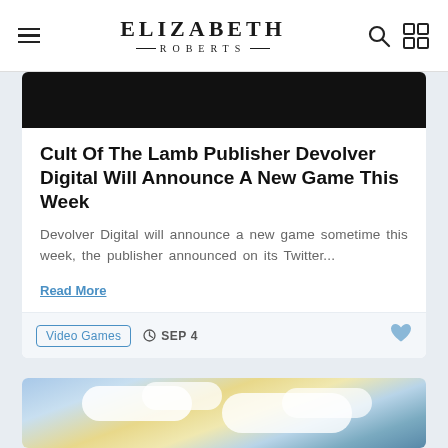ELIZABETH ROBERTS
Cult Of The Lamb Publisher Devolver Digital Will Announce A New Game This Week
Devolver Digital will announce a new game sometime this week, the publisher announced on its Twitter...
Read More
Video Games  SEP 4
[Figure (photo): Partial view of a sky with clouds, birds flying in the distance]